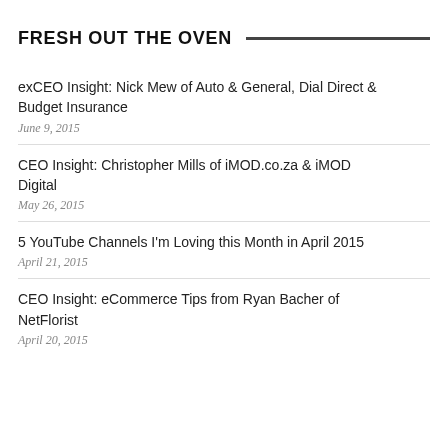FRESH OUT THE OVEN
exCEO Insight: Nick Mew of Auto & General, Dial Direct & Budget Insurance
June 9, 2015
CEO Insight: Christopher Mills of iMOD.co.za & iMOD Digital
May 26, 2015
5 YouTube Channels I'm Loving this Month in April 2015
April 21, 2015
CEO Insight: eCommerce Tips from Ryan Bacher of NetFlorist
April 20, 2015